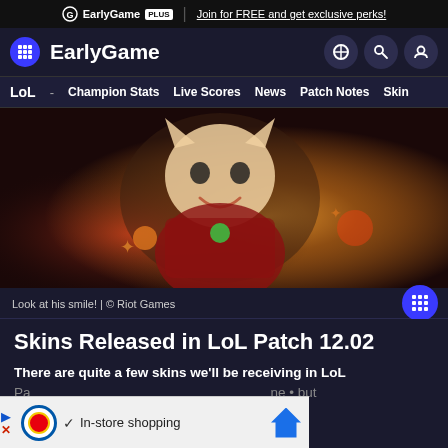EarlyGame PLUS | Join for FREE and get exclusive perks!
EarlyGame — navigation: LoL - Champion Stats Live Scores News Patch Notes Skins
[Figure (screenshot): League of Legends character art showing a cat-like character (Corgi Corki or similar) in colorful festive skin, looking at camera with a big smile, holding a weapon, warm orange and gold lighting]
Look at his smile! | © Riot Games
Skins Released in LoL Patch 12.02
There are quite a few skins we'll be receiving in LoL Patch 12.02, ... but